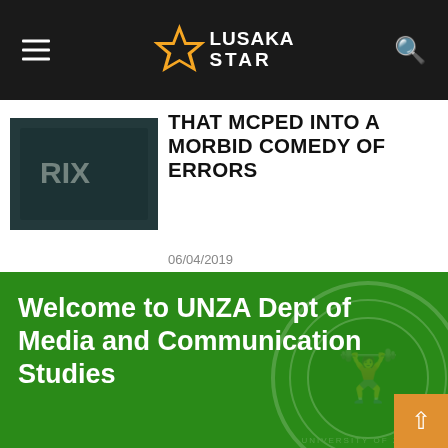Lusaka Star
THAT MCPED INTO A MORBID COMEDY OF ERRORS
06/04/2019
[Figure (screenshot): Lusaka Star website screenshot showing a news article preview with thumbnail image, article headline about a morbid comedy of errors dated 06/04/2019, navigation arrows, and a green UNZA Dept of Media and Communication Studies banner]
Welcome to UNZA Dept of Media and Communication Studies